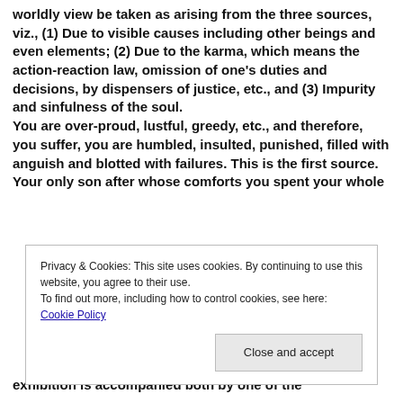worldly view be taken as arising from the three sources, viz., (1) Due to visible causes including other beings and even elements; (2) Due to the karma, which means the action-reaction law, omission of one's duties and decisions, by dispensers of justice, etc., and (3) Impurity and sinfulness of the soul. You are over-proud, lustful, greedy, etc., and therefore, you suffer, you are humbled, insulted, punished, filled with anguish and blotted with failures. This is the first source. Your only son after whose comforts you spent your whole
Privacy & Cookies: This site uses cookies. By continuing to use this website, you agree to their use. To find out more, including how to control cookies, see here: Cookie Policy
exhibition is accompanied both by one of the